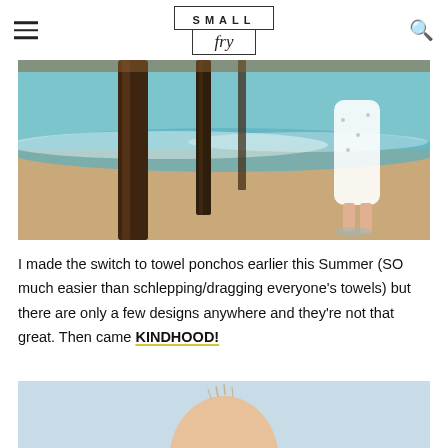SMALL fry — logo with hamburger menu and search icon
[Figure (photo): Beach scene under a pier with wooden poles, ocean waves with white foam, and sandy shore. A child in a white patterned dress stands at the water's edge near the pier pilings.]
I made the switch to towel ponchos earlier this Summer (SO much easier than schlepping/dragging everyone's towels) but there are only a few designs anywhere and they're not that great. Then came KINDHOOD!
[Figure (photo): Close-up of a young child's head from behind against a light blue sky background.]